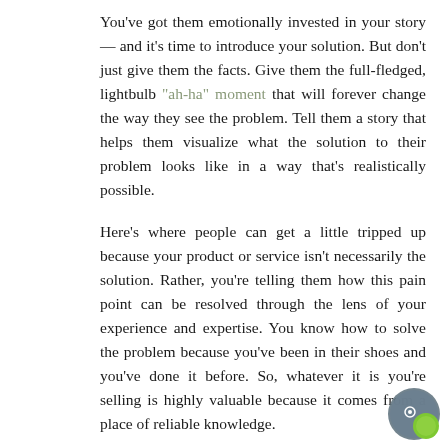You've got them emotionally invested in your story — and it's time to introduce your solution. But don't just give them the facts. Give them the full-fledged, lightbulb "ah-ha" moment that will forever change the way they see the problem. Tell them a story that helps them visualize what the solution to their problem looks like in a way that's realistically possible.
Here's where people can get a little tripped up because your product or service isn't necessarily the solution. Rather, you're telling them how this pain point can be resolved through the lens of your experience and expertise. You know how to solve the problem because you've been in their shoes and you've done it before. So, whatever it is you're selling is highly valuable because it comes from a place of reliable knowledge.
You're connecting the dots by providing a new perspective on the problem and showing your target market how they can finally overcome it. You've given them an aspirational glimpse into their future where this solution has already made all of the difference. This is where you show them what is possible.